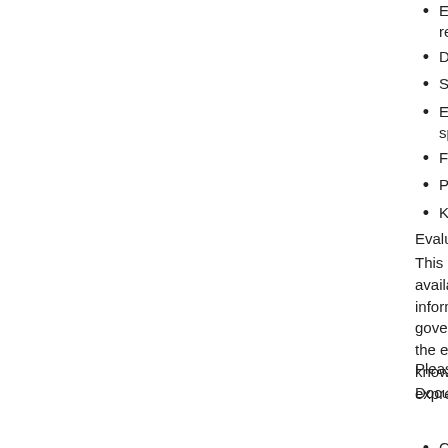Experience in applying SMART (S Spe... reconstructing or validating baseline sce...
Demonstrated capacity in strategic think...
Strong inter-personal skills, teamwork, a...
Excellent presentation and drafting skills... spreadsheets, and presentation softwar...
Fluency in Portuguese and English, bot...
Previous experience working in STP or ...
Knowledge of the sensitivities of the cor...
Evaluation ethics
This evaluation will be conducted in accordance available here: http://www.unevaluation.org/docu... information providers, interviewees and stakehol... governing collection of data and reporting on dat... the evaluation and protocols to ensure anonymit... knowledge and data gathered in the evaluation p... express authorization of UNDP and partners.
Please refer to ANNEX1 TOR for details.
Documents to be included when submitting the p...
The following documents may be reque... provided by UNDP;
CV